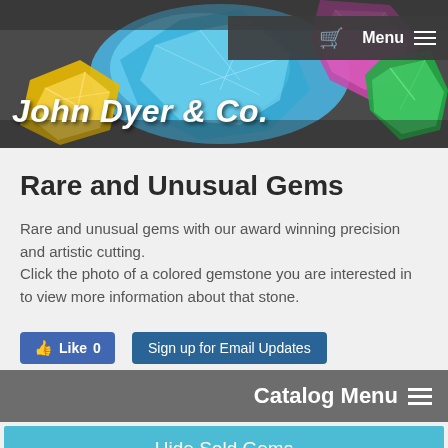[Figure (photo): Header banner with colorful gemstones (blue aquamarine, yellow citrine, pink/purple, green) against a dark background with John Dyer & Co. text overlay and navigation bar]
Rare and Unusual Gems
Rare and unusual gems with our award winning precision and artistic cutting.
Click the photo of a colored gemstone you are interested in to view more information about that stone.
Like 0
Sign up for Email Updates
Catalog Menu
Hide Sold Gems